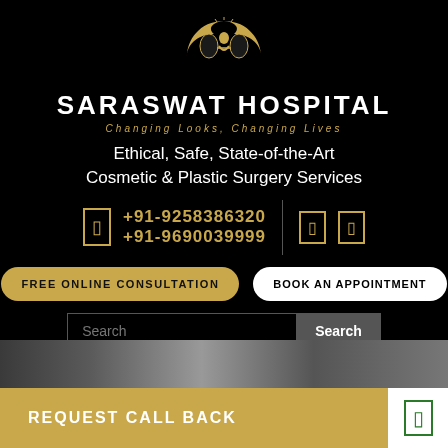[Figure (logo): Saraswat Hospital logo - golden circular emblem with human figure silhouette and crescent shape]
SARASWAT HOSPITAL
Changing Looks, Changing Lives
Ethical, Safe, State-of-the-Art Cosmetic & Plastic Surgery Services
+91-9258386320
+91-9690039999
FREE ONLINE CONSULTATION
BOOK AN APPOINTMENT
Search
MENU
REQUEST CALL BACK